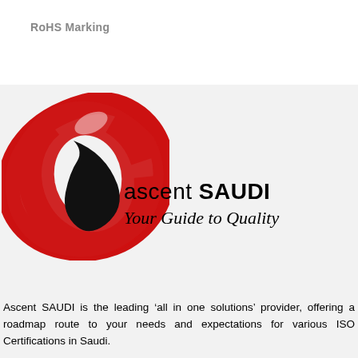RoHS Marking
[Figure (logo): Ascent SAUDI logo: red swirl/oval shape with black swoosh, company name 'ascent SAUDI' and tagline 'Your Guide to Quality' in script font]
Ascent SAUDI is the leading ‘all in one solutions’ provider, offering a roadmap route to your needs and expectations for various ISO Certifications in Saudi.